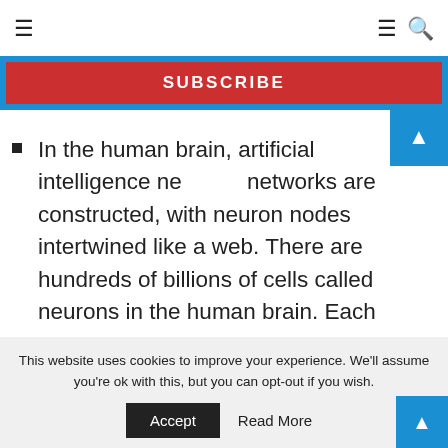≡  ≡ 🔍
[Figure (screenshot): Blue subscribe box with red SUBSCRIBE button]
In the human brain, artificial intelligence networks are constructed, with neuron nodes intertwined like a web. There are hundreds of billions of cells called neurons in the human brain. Each neuron consists of a cell body that, by transporting information to (inputs) and away (outputs) from the brain, is capable of processing knowledge.
This website uses cookies to improve your experience. We'll assume you're ok with this, but you can opt-out if you wish.